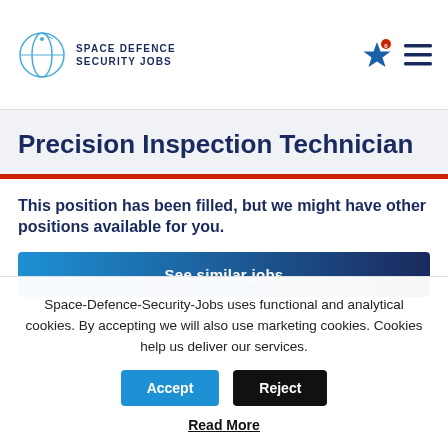SPACE DEFENCE SECURITY JOBS
Precision Inspection Technician
This position has been filled, but we might have other positions available for you.
See similar jobs
Space-Defence-Security-Jobs uses functional and analytical cookies. By accepting we will also use marketing cookies. Cookies help us deliver our services.
Accept
Reject
Read More